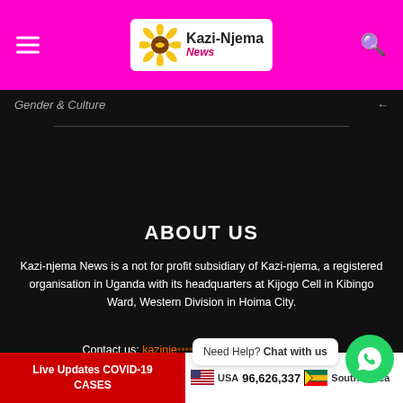[Figure (logo): Kazi-Njema News logo with sunflower and bee on white background, set in magenta/pink navigation bar with hamburger menu on left and search icon on right]
Gender & Culture   ←
ABOUT US
Kazi-njema News is a not for profit subsidiary of Kazi-njema, a registered organisation in Uganda with its headquarters at Kijogo Cell in Kibingo Ward, Western Division in Hoima City.
Contact us: kazinje... [email partially obscured]
Need Help? Chat with us
Live Updates COVID-19 CASES   USA 96,626,337   South Africa